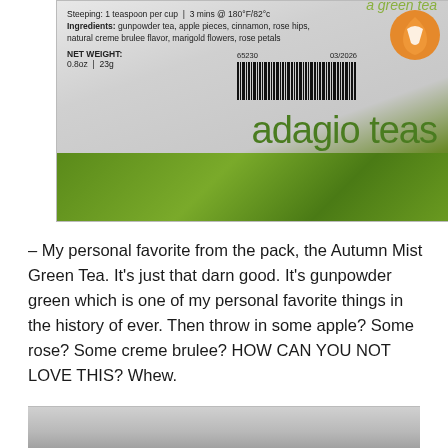[Figure (photo): Photo of an Adagio Teas product label showing steeping instructions, ingredients, net weight, barcode, and the adagio teas brand name in green with orange logo icon. Green decorative stripe at bottom of packaging.]
– My personal favorite from the pack, the Autumn Mist Green Tea. It's just that darn good. It's gunpowder green which is one of my personal favorite things in the history of ever. Then throw in some apple? Some rose? Some creme brulee? HOW CAN YOU NOT LOVE THIS? Whew.
[Figure (photo): Partial view of another product, bottom edge visible.]